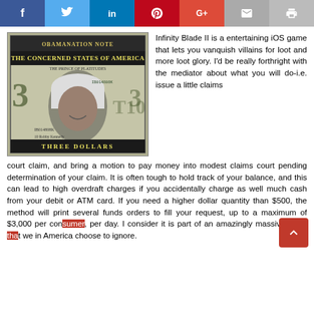[Figure (other): Social media sharing bar with buttons: Facebook (f), Twitter (bird), LinkedIn (in), Pinterest (p), Google+ (G+), Email (envelope), Print (printer)]
[Figure (photo): A novelty 'Obamanation Note' three dollar bill from 'The Concerned States of America' featuring a face with Arabic headdress]
Infinity Blade II is a entertaining iOS game that lets you vanquish villains for loot and more loot glory. I'd be really forthright with the mediator about what you will do-i.e. issue a little claims court claim, and bring a motion to pay money into modest claims court pending determination of your claim. It is often tough to hold track of your balance, and this can lead to high overdraft charges if you accidentally charge as well much cash from your debit or ATM card. If you need a higher dollar quantity than $500, the method will print several funds orders to fill your request, up to a maximum of $3,000 per consumer, per day. I consider it is part of an amazingly massive issue that we in America choose to ignore.